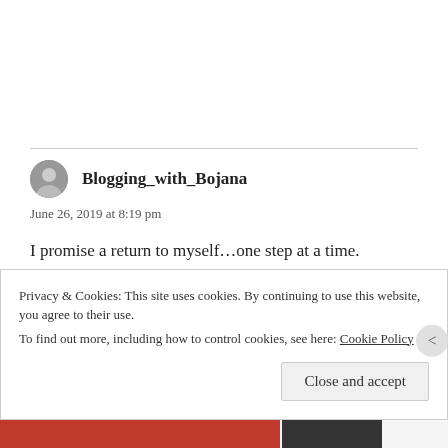Blogging_with_Bojana
June 26, 2019 at 8:19 pm
I promise a return to myself…one step at a time.
Beautifully penned.
Liked by 1 person
REPLY
Privacy & Cookies: This site uses cookies. By continuing to use this website, you agree to their use.
To find out more, including how to control cookies, see here: Cookie Policy
Close and accept